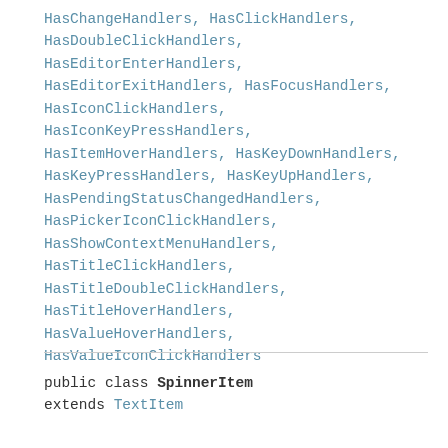HasChangeHandlers, HasClickHandlers,
HasDoubleClickHandlers,
HasEditorEnterHandlers,
HasEditorExitHandlers, HasFocusHandlers,
HasIconClickHandlers,
HasIconKeyPressHandlers,
HasItemHoverHandlers, HasKeyDownHandlers,
HasKeyPressHandlers, HasKeyUpHandlers,
HasPendingStatusChangedHandlers,
HasPickerIconClickHandlers,
HasShowContextMenuHandlers,
HasTitleClickHandlers,
HasTitleDoubleClickHandlers,
HasTitleHoverHandlers,
HasValueHoverHandlers,
HasValueIconClickHandlers
public class SpinnerItem
extends TextItem